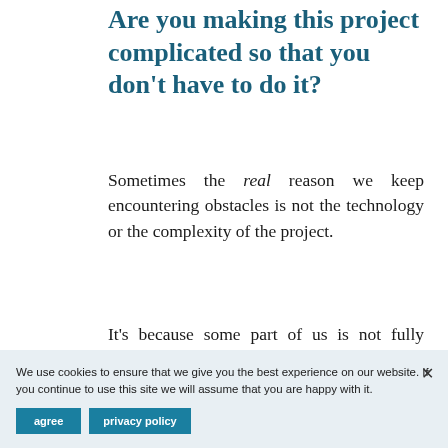Are you making this project complicated so that you don't have to do it?
Sometimes the real reason we keep encountering obstacles is not the technology or the complexity of the project.
It's because some part of us is not fully committed to this course of action.
Deep inside, we feel really uncomfortable with the idea of putting ourselves out there, with committing our thoughts to a book, with speaking on a stage… and so subconsciously, we turn to self-sabotage: our capacity to focus, prioritise, create problems or learn something outside our zone of genius.
We use cookies to ensure that we give you the best experience on our website. If you continue to use this site we will assume that you are happy with it.